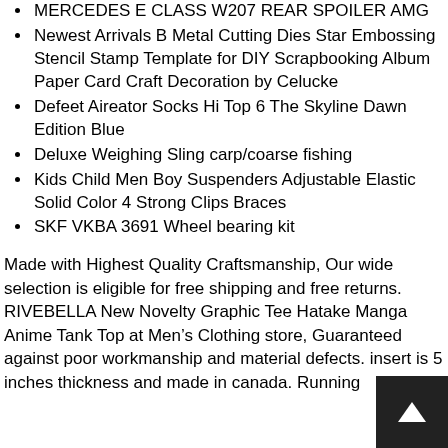MERCEDES E CLASS W207 REAR SPOILER AMG
Newest Arrivals B Metal Cutting Dies Star Embossing Stencil Stamp Template for DIY Scrapbooking Album Paper Card Craft Decoration by Celucke
Defeet Aireator Socks Hi Top 6 The Skyline Dawn Edition Blue
Deluxe Weighing Sling carp/coarse fishing
Kids Child Men Boy Suspenders Adjustable Elastic Solid Color 4 Strong Clips Braces
SKF VKBA 3691 Wheel bearing kit
Made with Highest Quality Craftsmanship, Our wide selection is eligible for free shipping and free returns. RIVEBELLA New Novelty Graphic Tee Hatake Manga Anime Tank Top at Men’s Clothing store, Guaranteed against poor workmanship and material defects. insert is 5 inches thickness and made in canada. Running